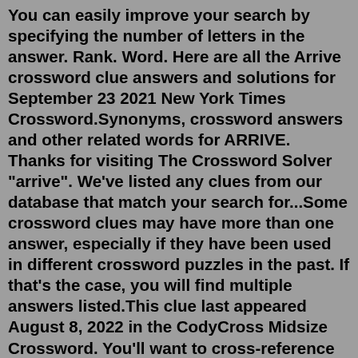You can easily improve your search by specifying the number of letters in the answer. Rank. Word. Here are all the Arrive crossword clue answers and solutions for September 23 2021 New York Times Crossword.Synonyms, crossword answers and other related words for ARRIVE. Thanks for visiting The Crossword Solver "arrive". We've listed any clues from our database that match your search for...Some crossword clues may have more than one answer, especially if they have been used in different crossword puzzles in the past. If that's the case, you will find multiple answers listed.This clue last appeared August 8, 2022 in the CodyCross Midsize Crossword. You'll want to cross-reference the length of the answers below with the required length in the crossword puzzle you are working on for the correct answer. The solution to the Arrived, attended. crossword clue should be: CAME (4 letters) Below, you'll find any key ...Crossword Answer. The answer to the "Quiet!" crossword clue is: SHH (3 letters) The